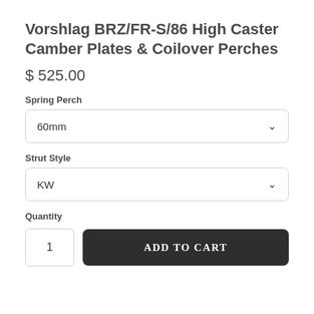Vorshlag BRZ/FR-S/86 High Caster Camber Plates & Coilover Perches
$ 525.00
Spring Perch
60mm
Strut Style
KW
Quantity
1
ADD TO CART